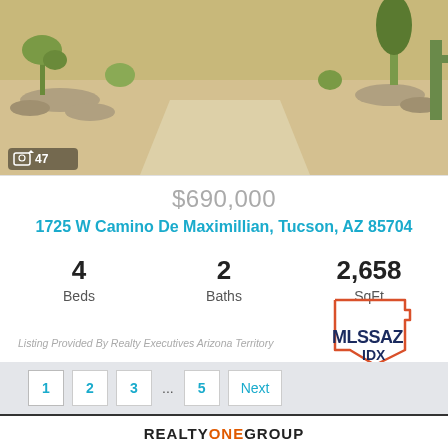[Figure (photo): Desert landscape photo showing a dirt/gravel driveway with desert plants, rocks, and cacti. Camera icon with '47' photo count badge in lower left.]
$690,000
1725 W Camino De Maximillian, Tucson, AZ 85704
4 Beds   2 Baths   2,658 SqFt
[Figure (logo): MLSSAZ IDX logo - Arizona state outline in orange/red with MLSSAZ IDX text in dark navy]
Listing Provided By Realty Executives Arizona Territory
1 2 3 ... 5 Next
REALTY ONE GROUP